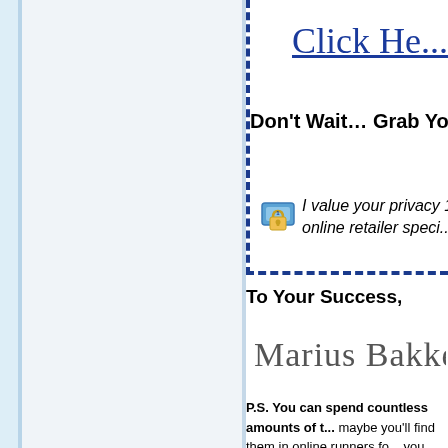Click He...
Don't Wait… Grab Your C...
[Figure (illustration): Lock/security icon for privacy statement]
I value your privacy 100% ... online retailer speci...
To Your Success,
[Figure (illustration): Handwritten signature: Marius Bakken]
P.S. You can spend countless amounts of ... maybe you'll find them in online runners fo... you meet. Maybe you'll find a golden nugge... a difference.
Or you can grab your own copy of my fie...